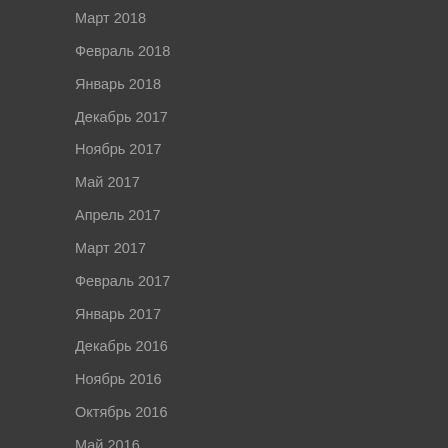Март 2018
Февраль 2018
Январь 2018
Декабрь 2017
Ноябрь 2017
Май 2017
Апрель 2017
Март 2017
Февраль 2017
Январь 2017
Декабрь 2016
Ноябрь 2016
Октябрь 2016
Май 2016
Апрель 2016
Март 2016